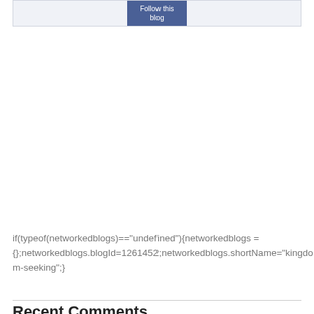[Figure (other): Follow this blog button inside a light blue-grey box]
if(typeof(networkedblogs)=="undefined"){networkedblogs = {};networkedblogs.blogId=1261452;networkedblogs.shortName="kingdom-seeking";}
Recent Comments